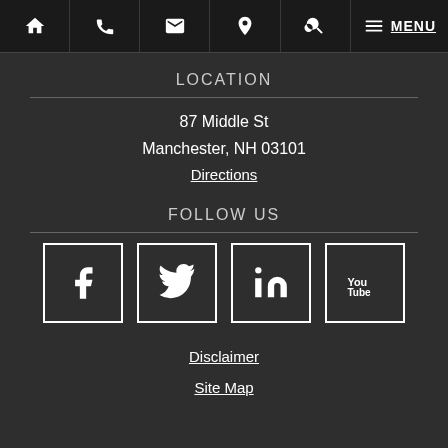Navigation bar with icons: home, phone, email, location, search, menu, MENU
LOCATION
87 Middle St
Manchester, NH 03101
Directions
FOLLOW US
[Figure (infographic): Four social media icons in bordered boxes: Facebook, Twitter, LinkedIn, YouTube]
Disclaimer
Site Map